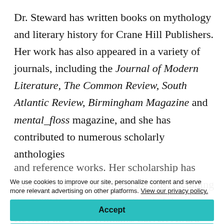Dr. Steward has written books on mythology and literary history for Crane Hill Publishers. Her work has also appeared in a variety of journals, including the Journal of Modern Literature, The Common Review, South Atlantic Review, Birmingham Magazine and mental_floss magazine, and she has contributed to numerous scholarly anthologies
and reference works. Her scholarship has received several prominent awards, including the 1999 Kirby prize from South Atlantic Review, the 2006 Williams/Calvert Award and the 2010 James Woodall Award from the Association of College
We use cookies to improve our site, personalize content and serve more relevant advertising on other platforms. View our privacy policy.
Accept
Preferences